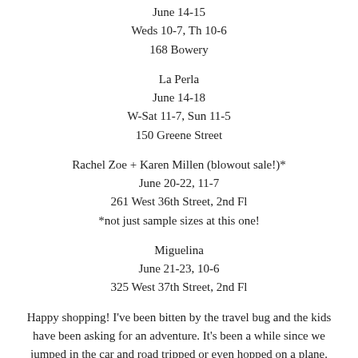June 14-15
Weds 10-7, Th 10-6
168 Bowery
La Perla
June 14-18
W-Sat 11-7, Sun 11-5
150 Greene Street
Rachel Zoe + Karen Millen (blowout sale!)*
June 20-22, 11-7
261 West 36th Street, 2nd Fl
*not just sample sizes at this one!
Miguelina
June 21-23, 10-6
325 West 37th Street, 2nd Fl
Happy shopping! I've been bitten by the travel bug and the kids have been asking for an adventure. It's been a while since we jumped in the car and road tripped or even hopped on a plane. Ella told me she wants to go to Paris LOL. What are you doing this summer? If you have any family friendly travel ideas I'd love to hear them!